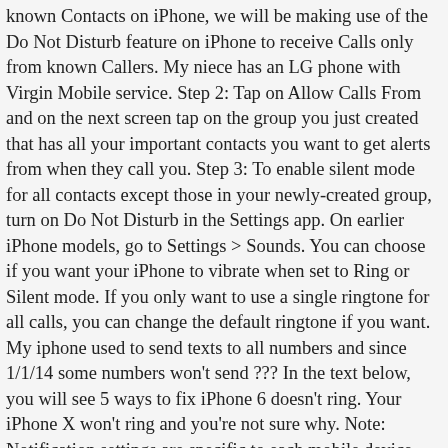known Contacts on iPhone, we will be making use of the Do Not Disturb feature on iPhone to receive Calls only from known Callers. My niece has an LG phone with Virgin Mobile service. Step 2: Tap on Allow Calls From and on the next screen tap on the group you just created that has all your important contacts you want to get alerts from when they call you. Step 3: To enable silent mode for all contacts except those in your newly-created group, turn on Do Not Disturb in the Settings app. On earlier iPhone models, go to Settings > Sounds. You can choose if you want your iPhone to vibrate when set to Ring or Silent mode. If you only want to use a single ringtone for all calls, you can change the default ringtone if you want. My iphone used to send texts to all numbers and since 1/1/14 some numbers won't send ??? In the text below, you will see 5 ways to fix iPhone 6 doesn't ring. Your iPhone X won't ring and you're not sure why. Note: Notification settings are specific to each mobile device connected to Ring, not your actual Ring Doorbell or Stick Up Cam. How To Fix An iPhone X That's Not Ringing 5 Steps